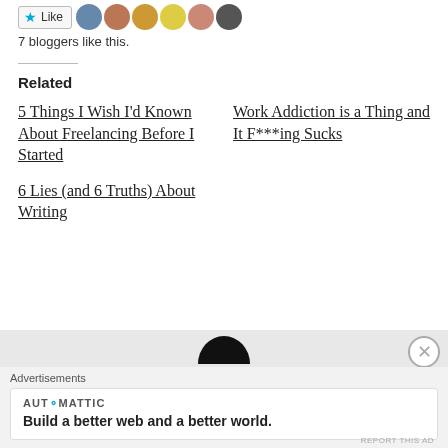[Figure (screenshot): Like button with star icon and profile avatars of 6 bloggers]
7 bloggers like this.
Related
5 Things I Wish I'd Known About Freelancing Before I Started
Work Addiction is a Thing and It F***ing Sucks
6 Lies (and 6 Truths) About Writing
[Figure (screenshot): Bottom section with dark profile circle silhouette and close button, plus Automattic advertisement bar reading 'Build a better web and a better world.']